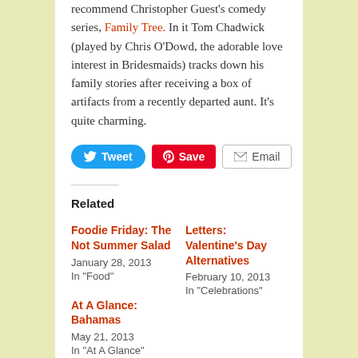recommend Christopher Guest's comedy series, Family Tree. In it Tom Chadwick (played by Chris O'Dowd, the adorable love interest in Bridesmaids) tracks down his family stories after receiving a box of artifacts from a recently departed aunt. It's quite charming.
[Figure (other): Social sharing buttons: Tweet (blue, Twitter bird icon), Save (red, Pinterest pin icon), Email (grey, envelope icon)]
Related
Foodie Friday: The Not Summer Salad
January 28, 2013
In "Food"
Letters: Valentine's Day Alternatives
February 10, 2013
In "Celebrations"
At A Glance: Bahamas
May 21, 2013
In "At A Glance"